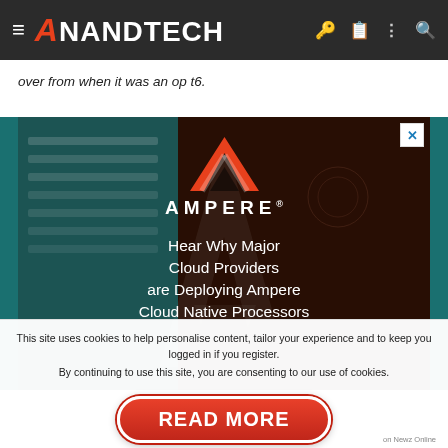AnandTech
over from when it was an op t6.
[Figure (photo): Ampere advertisement banner showing the Ampere logo and tagline 'Hear Why Major Cloud Providers are Deploying Ampere Cloud Native Processors' on a dark background]
This site uses cookies to help personalise content, tailor your experience and to keep you logged in if you register.
By continuing to use this site, you are consenting to our use of cookies.
READ MORE